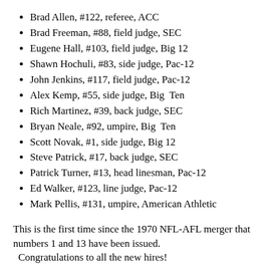Brad Allen, #122, referee, ACC
Brad Freeman, #88, field judge, SEC
Eugene Hall, #103, field judge, Big 12
Shawn Hochuli, #83, side judge, Pac-12
John Jenkins, #117, field judge, Pac-12
Alex Kemp, #55, side judge, Big Ten
Rich Martinez, #39, back judge, SEC
Bryan Neale, #92, umpire, Big Ten
Scott Novak, #1, side judge, Big 12
Steve Patrick, #17, back judge, SEC
Patrick Turner, #13, head linesman, Pac-12
Ed Walker, #123, line judge, Pac-12
Mark Pellis, #131, umpire, American Athletic
This is the first time since the 1970 NFL-AFL merger that numbers 1 and 13 have been issued.
  Congratulations to all the new hires!